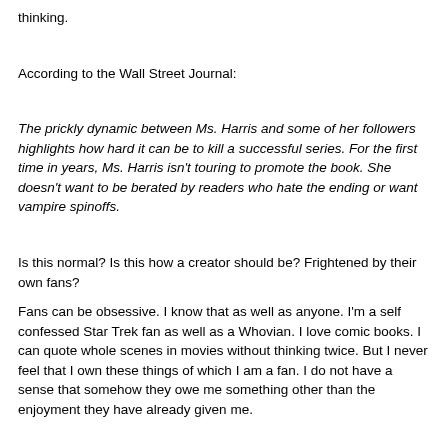thinking.
According to the Wall Street Journal:
The prickly dynamic between Ms. Harris and some of her followers highlights how hard it can be to kill a successful series. For the first time in years, Ms. Harris isn't touring to promote the book. She doesn't want to be berated by readers who hate the ending or want vampire spinoffs.
Is this normal? Is this how a creator should be? Frightened by their own fans?
Fans can be obsessive. I know that as well as anyone. I'm a self confessed Star Trek fan as well as a Whovian. I love comic books. I can quote whole scenes in movies without thinking twice. But I never feel that I own these things of which I am a fan. I do not have a sense that somehow they owe me something other than the enjoyment they have already given me.